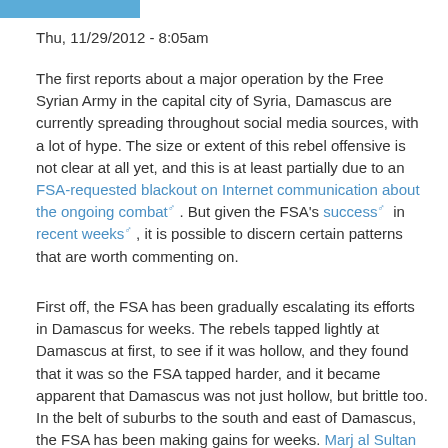Thu, 11/29/2012 - 8:05am
The first reports about a major operation by the Free Syrian Army in the capital city of Syria, Damascus are currently spreading throughout social media sources, with a lot of hype. The size or extent of this rebel offensive is not clear at all yet, and this is at least partially due to an FSA-requested blackout on Internet communication about the ongoing combat. But given the FSA's success in recent weeks, it is possible to discern certain patterns that are worth commenting on.
First off, the FSA has been gradually escalating its efforts in Damascus for weeks. The rebels tapped lightly at Damascus at first, to see if it was hollow, and they found that it was so the FSA tapped harder, and it became apparent that Damascus was not just hollow, but brittle too. In the belt of suburbs to the south and east of Damascus, the FSA has been making gains for weeks. Marj al Sultan Airbase in Eastern Damascus fell to rebels last month,